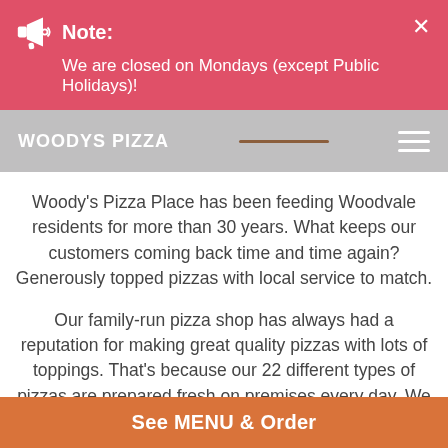Note: We are closed on Mondays (except Public Holidays)!
WOODYS PIZZA
Woody's Pizza Place has been feeding Woodvale residents for more than 30 years. What keeps our customers coming back time and time again? Generously topped pizzas with local service to match.
Our family-run pizza shop has always had a reputation for making great quality pizzas with lots of toppings. That's because our 22 different types of pizzas are prepared fresh on premises every day. We make our own dough, roll our own bases and generously top them with the freshest of locally sourced ingredients.
See MENU & Order